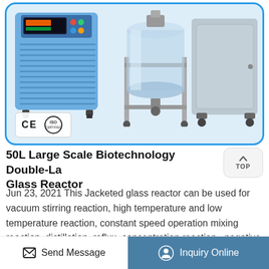[Figure (photo): Product photo showing three laboratory equipment items: a blue chiller/cooling unit on the left with a digital display, a stainless steel jacketed glass reactor vessel on a metal stand in the center, and a grey cabinet/unit on wheels on the right. CE and ISO certification badges are shown in the lower left of the image area.]
50L Large Scale Biotechnology Double-Layer Glass Reactor
Jun 23, 2021 This Jacketed glass reactor can be used for vacuum stirring reaction, high temperature and low temperature reaction, constant speed operation mixing reaction, distillation, reflux, concentration reaction , negative pressure operation and so on. Jacketed
Send Message | Inquiry Online